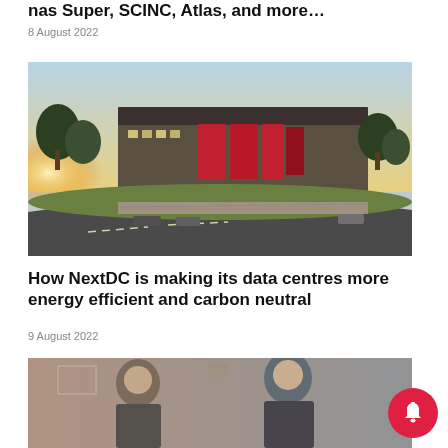nas Super, SCINC, Atlas, and more…
8 August 2022
[Figure (photo): Architectural rendering of a data centre building exterior with red accents, trees, road, and sunlight in the background]
How NextDC is making its data centres more energy efficient and carbon neutral
9 August 2022
[Figure (photo): Two men in business attire, partially visible, bottom of page]